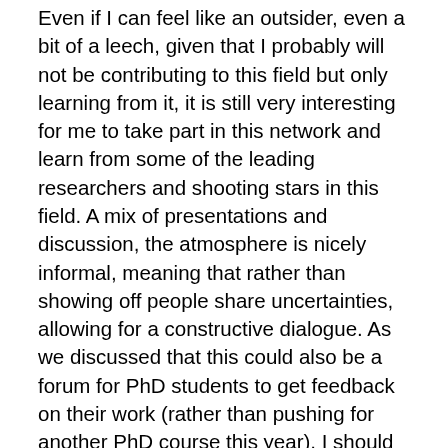Even if I can feel like an outsider, even a bit of a leech, given that I probably will not be contributing to this field but only learning from it, it is still very interesting for me to take part in this network and learn from some of the leading researchers and shooting stars in this field. A mix of presentations and discussion, the atmosphere is nicely informal, meaning that rather than showing off people share uncertainties, allowing for a constructive dialogue. As we discussed that this could also be a forum for PhD students to get feedback on their work (rather than pushing for another PhD course this year), I should seize that opportunity at some point.
Both Bechmann, Ess & Waade 's project about Tripadvisor and the communicative functions of travel apps (as yet unpublished, but the abstract presents some very interesting points about key functions and significant